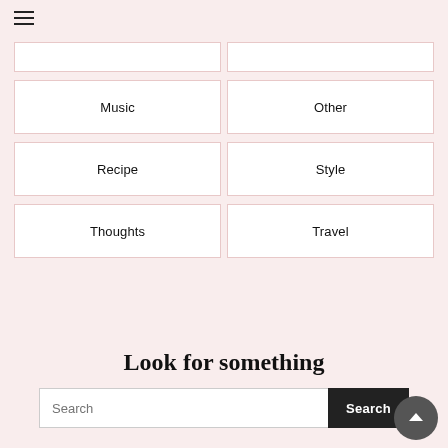☰
Music
Other
Recipe
Style
Thoughts
Travel
Look for something
Search [input] Search [button]